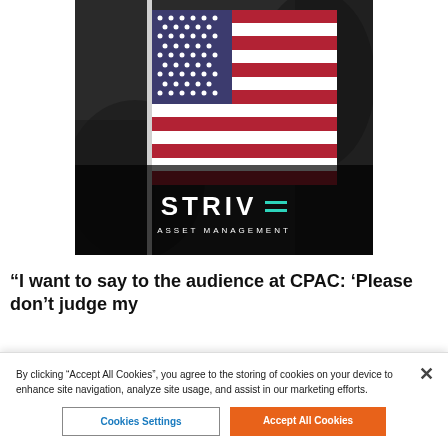[Figure (photo): American flag on a pole against a dark rocky background, with Strive Asset Management logo overlaid at the bottom center.]
“I want to say to the audience at CPAC: ‘Please don’t judge my company by Mr. Colin Kaepernick, the left-
By clicking “Accept All Cookies”, you agree to the storing of cookies on your device to enhance site navigation, analyze site usage, and assist in our marketing efforts.
Cookies Settings
Accept All Cookies